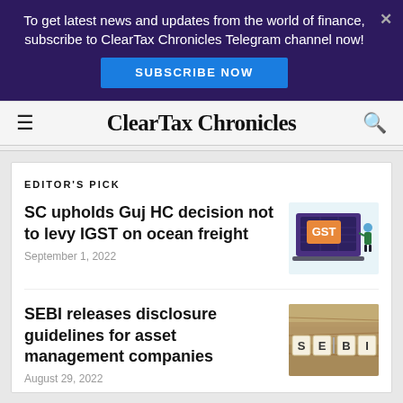To get latest news and updates from the world of finance, subscribe to ClearTax Chronicles Telegram channel now!
SUBSCRIBE NOW
ClearTax Chronicles
EDITOR'S PICK
SC upholds Guj HC decision not to levy IGST on ocean freight
September 1, 2022
[Figure (illustration): GST illustration showing a laptop screen with GST text and a figure standing beside it]
SEBI releases disclosure guidelines for asset management companies
August 29, 2022
[Figure (photo): Photo showing Scrabble tiles spelling SEBI on currency notes background]